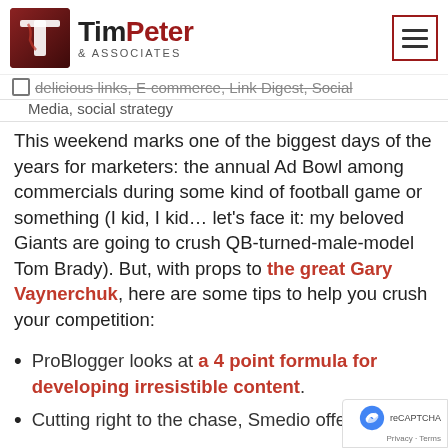TimPeter & ASSOCIATES
delicious links, E-commerce, Link Digest, Social Media, social strategy
This weekend marks one of the biggest days of the years for marketers: the annual Ad Bowl among commercials during some kind of football game or something (I kid, I kid… let's face it: my beloved Giants are going to crush QB-turned-male-model Tom Brady). But, with props to the great Gary Vaynerchuk, here are some tips to help you crush your competition:
ProBlogger looks at a 4 point formula for developing irresistible content.
Cutting right to the chase, Smedio offers an